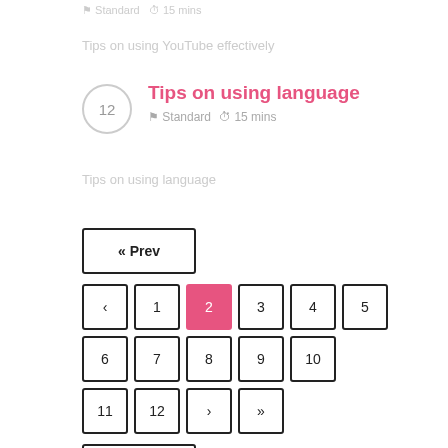Standard  15 mins
Tips on using YouTube effectively
Tips on using language
Standard  15 mins
Tips on using language
« Prev
‹  1  2  3  4  5
6  7  8  9  10
11  12  ›  »
Next »